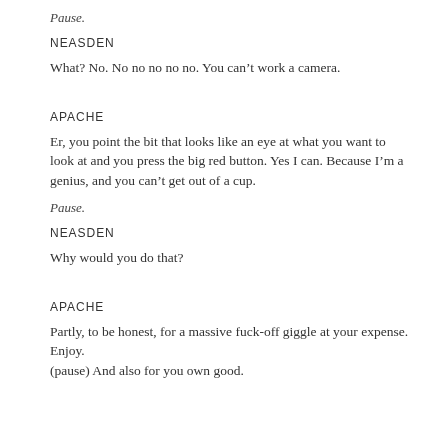Pause.
NEASDEN
What? No. No no no no no. You can't work a camera.
APACHE
Er, you point the bit that looks like an eye at what you want to look at and you press the big red button. Yes I can. Because I'm a genius, and you can't get out of a cup.
Pause.
NEASDEN
Why would you do that?
APACHE
Partly, to be honest, for a massive fuck-off giggle at your expense. Enjoy. (pause) And also for you own good.